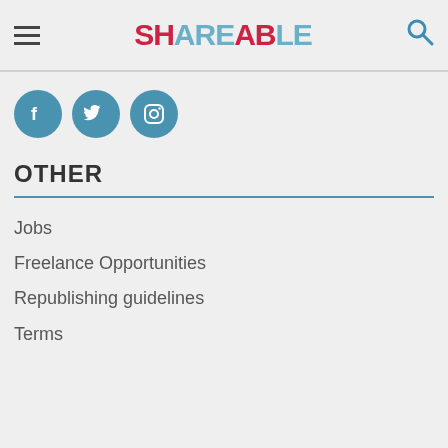Shareable
[Figure (logo): Social media icons: Facebook, Twitter, Instagram - teal circular buttons]
OTHER
Jobs
Freelance Opportunities
Republishing guidelines
Terms